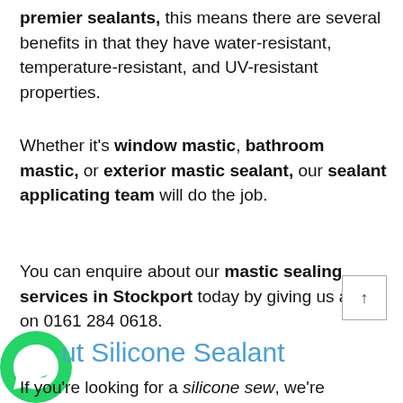premier sealants, this means there are several benefits in that they have water-resistant, temperature-resistant, and UV-resistant properties.
Whether it's window mastic, bathroom mastic, or exterior mastic sealant, our sealant applicating team will do the job.
You can enquire about our mastic sealing services in Stockport today by giving us a call on 0161 284 0618.
[Figure (logo): WhatsApp green circle icon with phone handset]
About Silicone Sealant
If you're looking for a silicone sew, we're